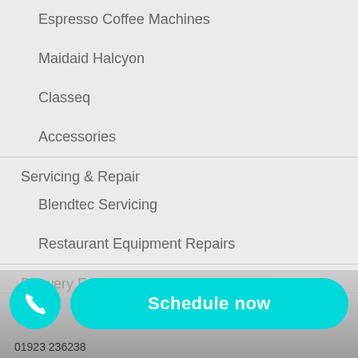Espresso Coffee Machines
Maidaid Halcyon
Classeq
Accessories
Servicing & Repair
Blendtec Servicing
Restaurant Equipment Repairs
Brewery Equipment
Blog
Schedule now
01923 236238